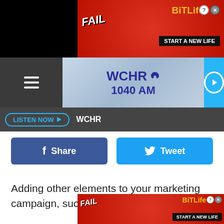[Figure (screenshot): BitLife advertisement banner - red background with FAIL animated character and BitLife logo with 'START A NEW LIFE' text]
[Figure (screenshot): WCHR 1040 AM radio station header with hamburger menu, station logo with bird icon, and play button]
LISTEN NOW ▶   WCHR
[Figure (screenshot): Facebook Share button (dark blue) and Twitter Tweet button (light blue)]
Adding other elements to your marketing campaign, such as SEO fo... streng... help
[Figure (screenshot): BitLife advertisement banner - red background with FAIL animated character and BitLife logo with 'START A NEW LIFE' text]